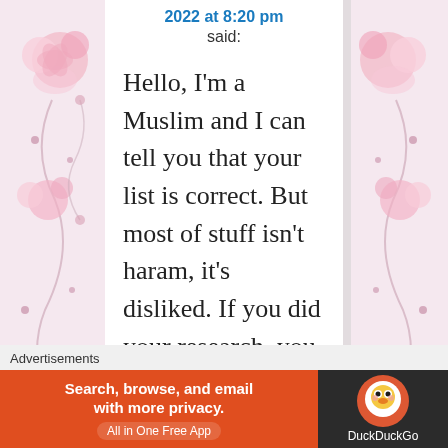2022 at 8:20 pm
said:
Hello, I'm a Muslim and I can tell you that your list is correct. But most of stuff isn't haram, it's disliked. If you did your research, you would know that. Did you even
Advertisements
[Figure (screenshot): DuckDuckGo advertisement banner: orange left section with text 'Search, browse, and email with more privacy. All in One Free App', dark right section with DuckDuckGo duck logo and brand name.]